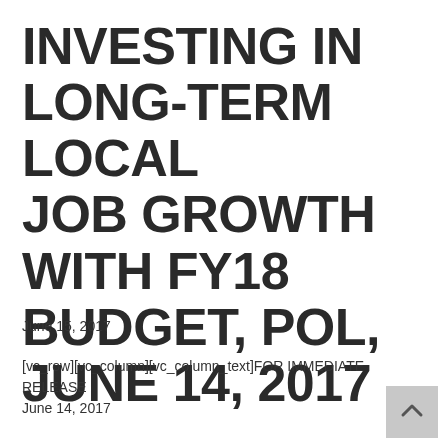INVESTING IN LONG-TERM LOCAL JOB GROWTH WITH FY18 BUDGET, POL, JUNE 14, 2017
June 15, 2017
[vc_row][vc_column][vc_column_text]FOR IMMEDIATE RELEASE
June 14, 2017